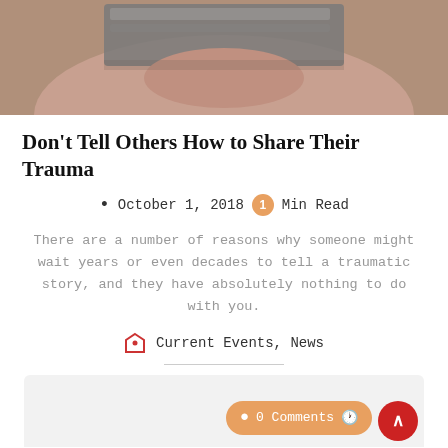[Figure (photo): Close-up photo of a person's lower face with duct tape covering their mouth, on a tan/beige background]
Don't Tell Others How to Share Their Trauma
October 1, 2018  1 Min Read
There are a number of reasons why someone might wait years or even decades to tell a traumatic story, and they have absolutely nothing to do with you.
Current Events, News